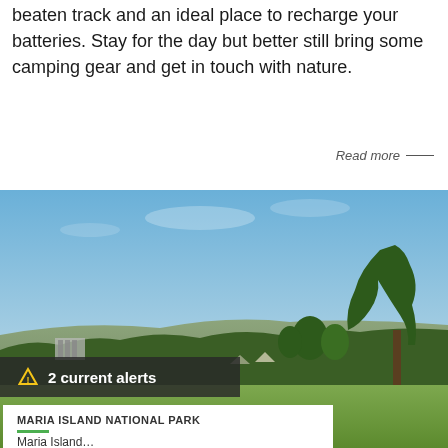beaten track and an ideal place to recharge your batteries. Stay for the day but better still bring some camping gear and get in touch with nature.
Read more —
[Figure (photo): Outdoor landscape photo showing a grassy field with trees, bushland, and a hillside under a blue sky. A building structure is partially visible on the left side. Some camping or outdoor visitors are visible in the background near the trees.]
⚠ 2 current alerts
MARIA ISLAND NATIONAL PARK
Maria Island…